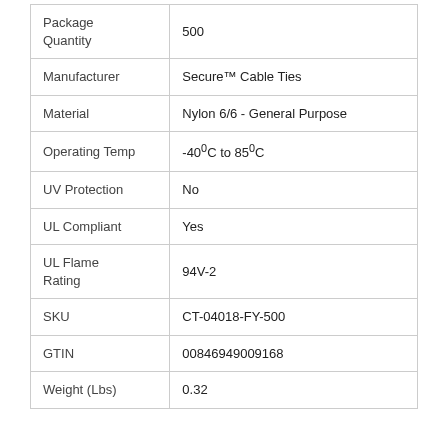| Package Quantity | 500 |
| Manufacturer | Secure™ Cable Ties |
| Material | Nylon 6/6 - General Purpose |
| Operating Temp | -40°C to 85°C |
| UV Protection | No |
| UL Compliant | Yes |
| UL Flame Rating | 94V-2 |
| SKU | CT-04018-FY-500 |
| GTIN | 00846949009168 |
| Weight (Lbs) | 0.32 |